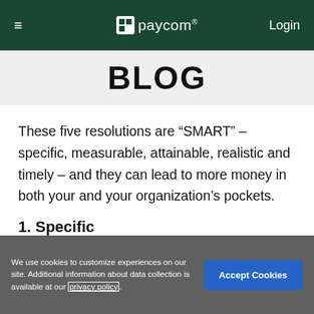≡   paycom®   Login
BLOG
These five resolutions are “SMART” – specific, measurable, attainable, realistic and timely – and they can lead to more money in both your and your organization’s pockets.
1. Specific
We use cookies to customize experiences on our site. Additional information about data collection is available at our privacy policy.